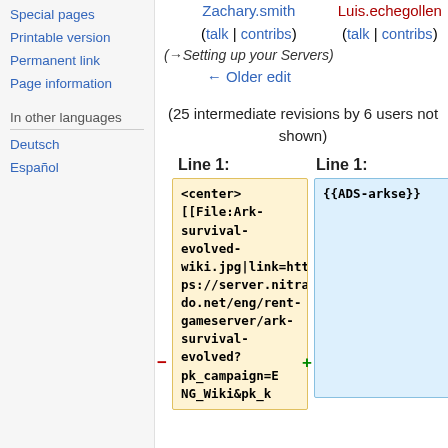Special pages
Printable version
Permanent link
Page information
In other languages
Deutsch
Español
Zachary.smith (talk | contribs) (→Setting up your Servers) ← Older edit   Luis.echegollen (talk | contribs)
(25 intermediate revisions by 6 users not shown)
Line 1:   Line 1:
− <center> [[File:Ark-survival-evolved-wiki.jpg|link=https://server.nitrado.net/eng/rent-gameserver/ark-survival-evolved?pk_campaign=ENG_Wiki&pk_k   + {{ADS-arkse}}